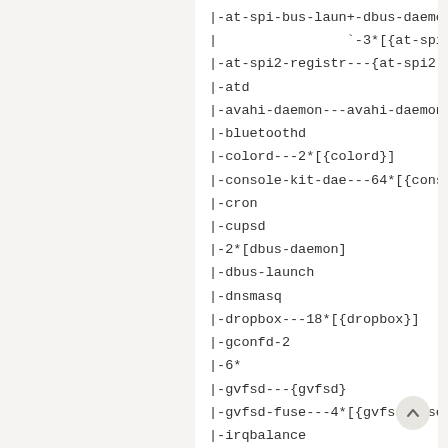|-at-spi-bus-laun+-dbus-daemon
|                `-3*[{at-spi-bu
|-at-spi2-registr---{at-spi2-regi
|-atd
|-avahi-daemon---avahi-daemon
|-bluetoothd
|-colord---2*[{colord}]
|-console-kit-dae---64*[{console-
|-cron
|-cupsd
|-2*[dbus-daemon]
|-dbus-launch
|-dnsmasq
|-dropbox---18*[{dropbox}]
|-gconfd-2
|-6*
|-gvfsd---{gvfsd}
|-gvfsd-fuse---4*[{gvfsd-fuse}]
|-irqbalance
|-kactivitymanage---6*[{kactivity